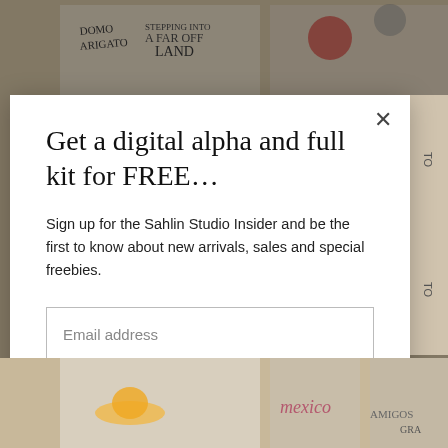[Figure (screenshot): Background showing scrapbooking/crafting products on a tan/beige background, partially obscured by modal overlay]
Get a digital alpha and full kit for FREE…
Sign up for the Sahlin Studio Insider and be the first to know about new arrivals, sales and special freebies.
Email address
SEND IT TO ME